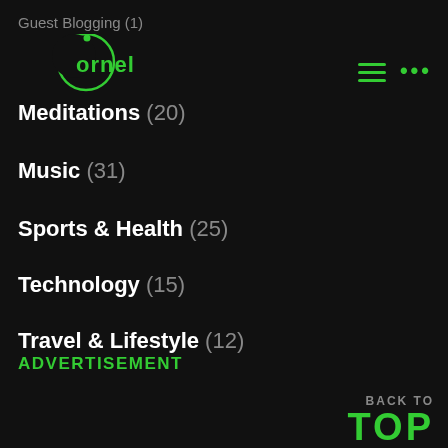Guest Blogging (1)
[Figure (logo): Cornel blog logo - green crescent moon shape with dot and 'cornel' text in green]
Meditations (20)
Music (31)
Sports & Health (25)
Technology (15)
Travel & Lifestyle (12)
ADVERTISEMENT
BACK TO TOP